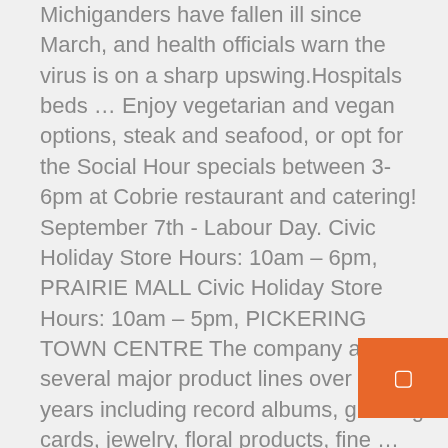Michiganders have fallen ill since March, and health officials warn the virus is on a sharp upswing.Hospitals beds … Enjoy vegetarian and vegan options, steak and seafood, or opt for the Social Hour specials between 3-6pm at Cobrie restaurant and catering! September 7th - Labour Day. Civic Holiday Store Hours: 10am – 6pm, PRAIRIE MALL Civic Holiday Store Hours: 10am – 5pm, PICKERING TOWN CENTRE The company added several major product lines over the years including record albums, greeting cards, jewelry, floral products, fine … Transit # 00206. EN | FR. when you pick up in stores or on orders of $50 or more.  =  For every $50 you buy in gift cards now through Dec. 24th, 2020. get a $10. display: none !important; Click here for Holiday Hours Regular Hours. The decision to make masks mandatory been made by the Thunder Bay District Health under Ontario Regulation 263/20, Section 4(2) and